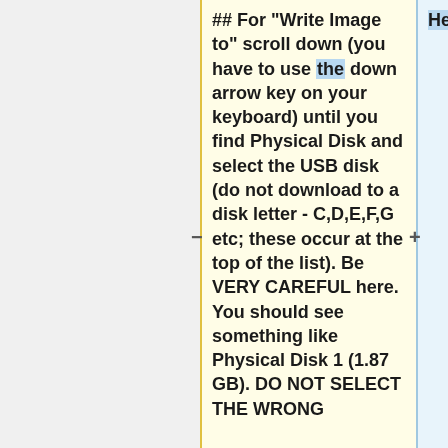## For "Write Image to" scroll down (you have to use the down arrow key on your keyboard) until you find Physical Disk and select the USB disk (do not download to a disk letter - C,D,E,F,G etc; these occur at the top of the list). Be VERY CAREFUL here. You should see something like Physical Disk 1 (1.87 GB). DO NOT SELECT THE WRONG
Here are the steps